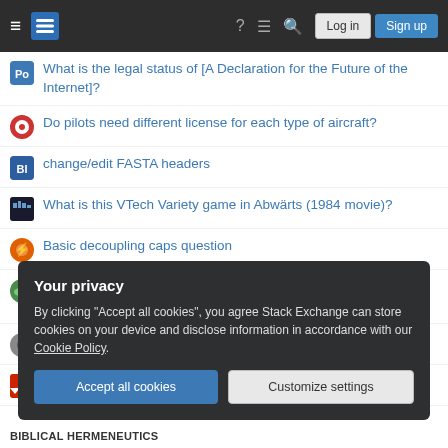Stack Exchange navigation bar with Log in and Sign up buttons
What is the legal status of [A Declaration for the Future of the Internet]?
Do pilots need different license for each type of aircraft?
change/edit FASTA headers
What is this VTech Variety game in Abwärts (1984 movie)?
Basic decoupling caps question
What factors would contribute to a medieval era mechanical revolution?
Pull my own electric meter?
Is it confusing to say "I paid him 20 dollars to buy the T-shirt"?
Your privacy
By clicking "Accept all cookies", you agree Stack Exchange can store cookies on your device and disclose information in accordance with our Cookie Policy.
BIBLICAL HERMENEUTICS